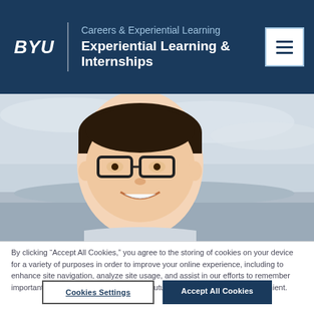BYU | Careers & Experiential Learning | Experiential Learning & Internships
[Figure (photo): Headshot photo of a young Asian man with dark hair, glasses, and braces, smiling outdoors with a cloudy sky and mountains in background]
By clicking “Accept All Cookies,” you agree to the storing of cookies on your device for a variety of purposes in order to improve your online experience, including to enhance site navigation, analyze site usage, and assist in our efforts to remember important information that will make your future use of our sites more convenient.
Cookies Settings
Accept All Cookies